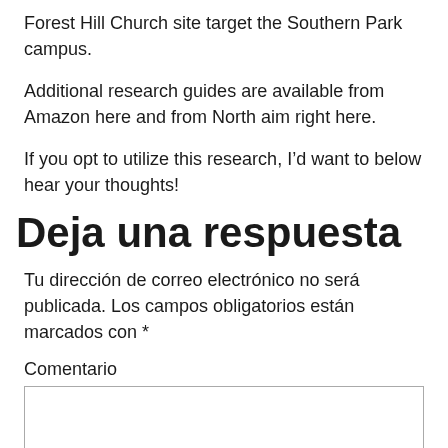Forest Hill Church site target the Southern Park campus.
Additional research guides are available from Amazon here and from North aim right here.
If you opt to utilize this research, I’d want to below hear your thoughts!
Deja una respuesta
Tu dirección de correo electrónico no será publicada. Los campos obligatorios están marcados con *
Comentario